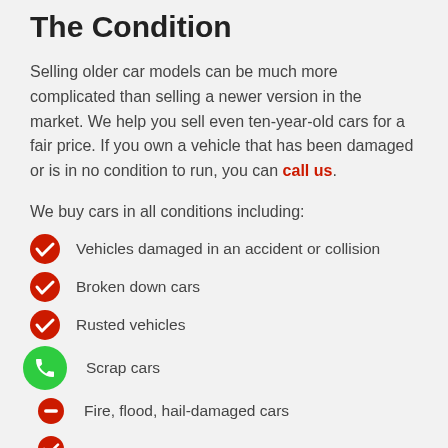The Condition
Selling older car models can be much more complicated than selling a newer version in the market. We help you sell even ten-year-old cars for a fair price. If you own a vehicle that has been damaged or is in no condition to run, you can call us.
We buy cars in all conditions including:
Vehicles damaged in an accident or collision
Broken down cars
Rusted vehicles
Scrap cars
Fire, flood, hail-damaged cars